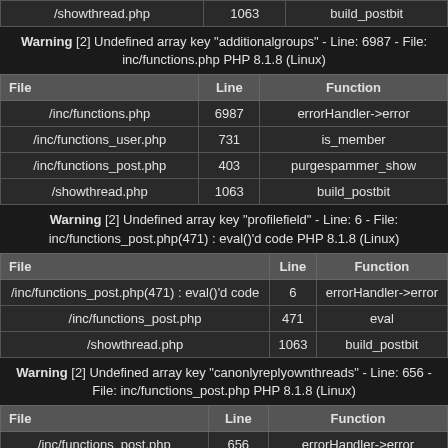| File | Line | Function |
| --- | --- | --- |
| /showthread.php | 1063 | build_postbit |
Warning [2] Undefined array key "additionalgroups" - Line: 6987 - File: inc/functions.php PHP 8.1.8 (Linux)
| File | Line | Function |
| --- | --- | --- |
| /inc/functions.php | 6987 | errorHandler->error |
| /inc/functions_user.php | 731 | is_member |
| /inc/functions_post.php | 403 | purgespammer_show |
| /showthread.php | 1063 | build_postbit |
Warning [2] Undefined array key "profilefield" - Line: 6 - File: inc/functions_post.php(471) : eval()'d code PHP 8.1.8 (Linux)
| File | Line | Function |
| --- | --- | --- |
| /inc/functions_post.php(471) : eval()'d code | 6 | errorHandler->error |
| /inc/functions_post.php | 471 | eval |
| /showthread.php | 1063 | build_postbit |
Warning [2] Undefined array key "canonlyreplyownthreads" - Line: 656 - File: inc/functions_post.php PHP 8.1.8 (Linux)
| File | Line | Function |
| --- | --- | --- |
| /inc/functions_post.php | 656 | errorHandler->error |